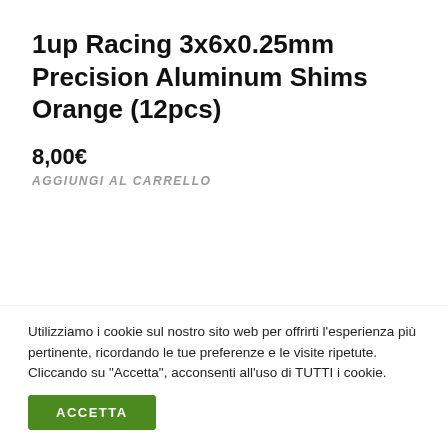1up Racing 3x6x0.25mm Precision Aluminum Shims Orange (12pcs)
8,00€
AGGIUNGI AL CARRELLO
CATEGORIE
Utilizziamo i cookie sul nostro sito web per offrirti l'esperienza più pertinente, ricordando le tue preferenze e le visite ripetute. Cliccando su "Accetta", acconsenti all'uso di TUTTI i cookie.
ACCETTA